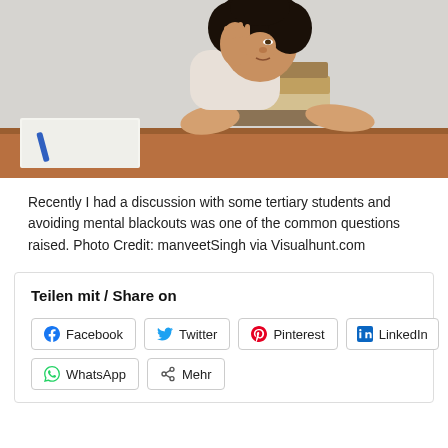[Figure (photo): A young woman with curly hair resting her face on her hand, leaning over a stack of books on a table, looking stressed or tired. An open notebook is visible in the foreground.]
Recently I had a discussion with some tertiary students and avoiding mental blackouts was one of the common questions raised. Photo Credit: manveetSingh via Visualhunt.com
Teilen mit / Share on
Facebook Twitter Pinterest LinkedIn WhatsApp Mehr